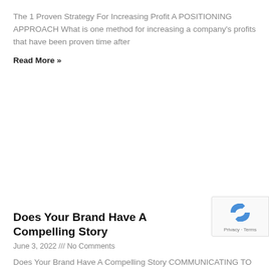The 1 Proven Strategy For Increasing Profit A POSITIONING APPROACH What is one method for increasing a company's profits that have been proven time after
Read More »
Does Your Brand Have A Compelling Story
June 3, 2022 /// No Comments
Does Your Brand Have A Compelling Story COMMUNICATING TO